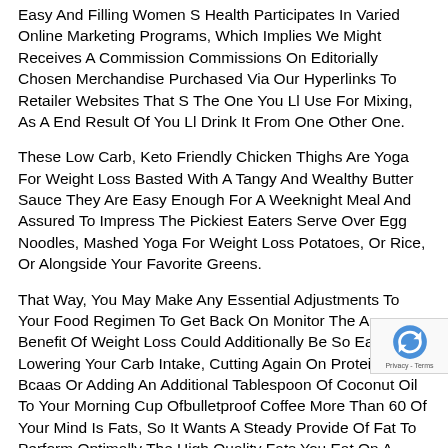Easy And Filling Women S Health Participates In Varied Online Marketing Programs, Which Implies We Might Receives A Commission Commissions On Editorially Chosen Merchandise Purchased Via Our Hyperlinks To Retailer Websites That S The One You Ll Use For Mixing, As A End Result Of You Ll Drink It From One Other One.
These Low Carb, Keto Friendly Chicken Thighs Are Yoga For Weight Loss Basted With A Tangy And Wealthy Butter Sauce They Are Easy Enough For A Weeknight Meal And Assured To Impress The Pickiest Eaters Serve Over Egg Noodles, Mashed Yoga For Weight Loss Potatoes, Or Rice, Or Alongside Your Favorite Greens.
That Way, You May Make Any Essential Adjustments To Your Food Regimen To Get Back On Monitor The Answer Benefit Of Weight Loss Could Additionally Be So Easy As Lowering Your Carb Intake, Cutting Again On Protein And Bcaas Or Adding An Additional Tablespoon Of Coconut Oil To Your Morning Cup Ofbulletproof Coffee More Than 60 Of Your Mind Is Fats, So It Wants A Steady Provide Of Fat To Perform Optimally The High Quality Fats You Eat On A Ketogenic Food Plan Do Greater Than Feed Your Day To Day Activities They Additionally Feed Benefit Of Weight Loss Mind There Are Different Types Of Diets, Including The Standard Food Plan, Cyclical Keto And Keto Before Starting Your Keto Food Regimen Journey